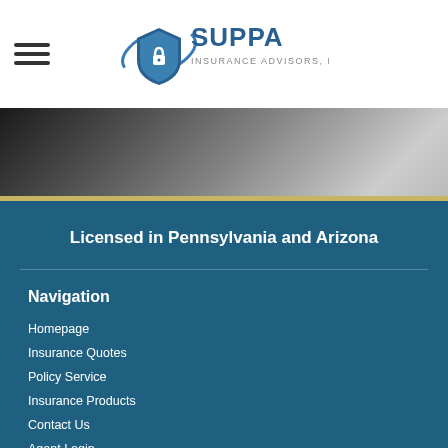[Figure (logo): Suppa Insurance Advisors, LLC logo with shield and padlock graphic]
Licensed in Pennsylvania and Arizona
Navigation
Homepage
Insurance Quotes
Policy Service
Insurance Products
Contact Us
Agent Login
Connect With Us